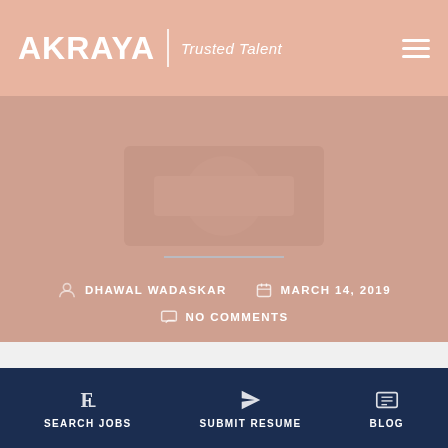AKRAYA | Trusted Talent
[Figure (screenshot): Hero banner area with salmon/rose background and decorative watermark image in center]
DHAWAL WADASKAR
MARCH 14, 2019
NO COMMENTS
SEARCH JOBS   SUBMIT RESUME   BLOG